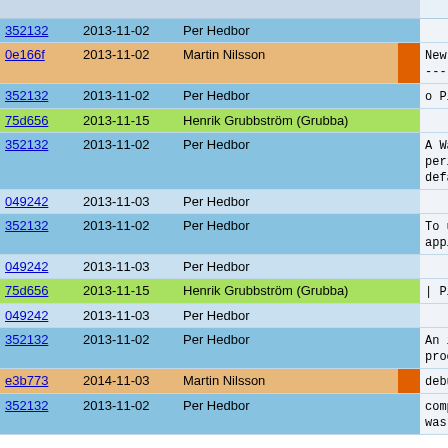| hash | date | author |  | message |
| --- | --- | --- | --- | --- |
| 352132 | 2013-11-02 | Per Hedbor |  |  |
| 0e166f | 2013-11-02 | Martin Nilsson |  | New modules
----------- |
| 352132 | 2013-11-02 | Per Hedbor |  | o Pike.Watch |
| 75d656 | 2013-11-15 | Henrik Grubbström (Grubba) |  |  |
| 352132 | 2013-11-02 | Per Hedbor |  | A Watchdog
period of
default ba |
| 049242 | 2013-11-03 | Per Hedbor |  |  |
| 352132 | 2013-11-02 | Per Hedbor |  | To use it
applicatio |
| 049242 | 2013-11-03 | Per Hedbor |  |  |
| 75d656 | 2013-11-15 | Henrik Grubbström (Grubba) |  | | Pike.W |
| 049242 | 2013-11-03 | Per Hedbor |  |  |
| 352132 | 2013-11-02 | Per Hedbor |  | An importa
process wi |
| e3b773 | 2014-11-03 | Martin Nilsson |  | debug info |
| 352132 | 2013-11-02 | Per Hedbor |  | compiled w
was called |